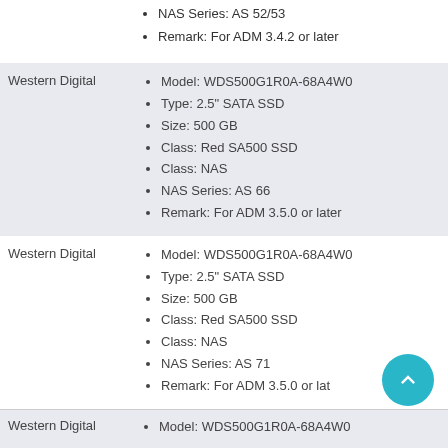NAS Series: AS 52/53
Remark: For ADM 3.4.2 or later
| Vendor | Details |
| --- | --- |
| Western Digital | Model: WDS500G1R0A-68A4W0 | Type: 2.5" SATA SSD | Size: 500 GB | Class: Red SA500 SSD | Class: NAS | NAS Series: AS 66 | Remark: For ADM 3.5.0 or later |
| Western Digital | Model: WDS500G1R0A-68A4W0 | Type: 2.5" SATA SSD | Size: 500 GB | Class: Red SA500 SSD | Class: NAS | NAS Series: AS 71 | Remark: For ADM 3.5.0 or later |
| Western Digital | Model: WDS500G1R0A-68A4W0 |